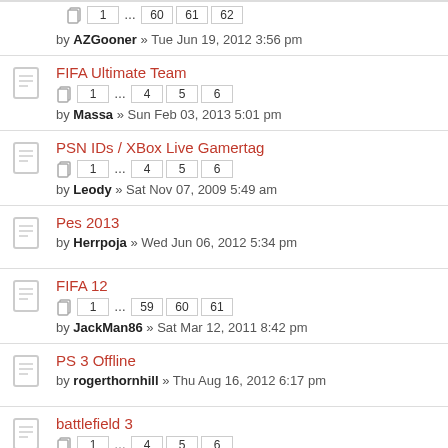by AZGooner » Tue Jun 19, 2012 3:56 pm, pages: 1 ... 60 61 62
FIFA Ultimate Team, by Massa » Sun Feb 03, 2013 5:01 pm, pages: 1 ... 4 5 6
PSN IDs / XBox Live Gamertag, by Leody » Sat Nov 07, 2009 5:49 am, pages: 1 ... 4 5 6
Pes 2013, by Herrpoja » Wed Jun 06, 2012 5:34 pm
FIFA 12, by JackMan86 » Sat Mar 12, 2011 8:42 pm, pages: 1 ... 59 60 61
PS 3 Offline, by rogerthornhill » Thu Aug 16, 2012 6:17 pm
battlefield 3, by ivan itchybum » Tue Jun 07, 2011 10:17 am, pages: 1 ... 4 5 6